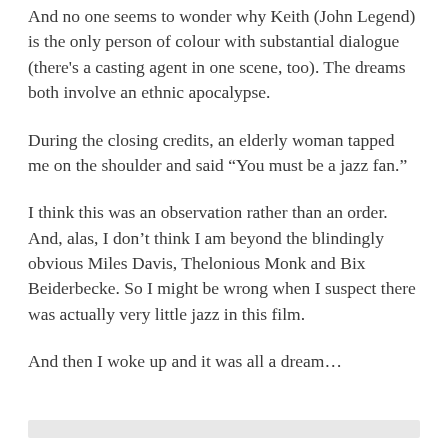And no one seems to wonder why Keith (John Legend) is the only person of colour with substantial dialogue (there's a casting agent in one scene, too). The dreams both involve an ethnic apocalypse.
During the closing credits, an elderly woman tapped me on the shoulder and said “You must be a jazz fan.”
I think this was an observation rather than an order. And, alas, I don’t think I am beyond the blindingly obvious Miles Davis, Thelonious Monk and Bix Beiderbecke. So I might be wrong when I suspect there was actually very little jazz in this film.
And then I woke up and it was all a dream…